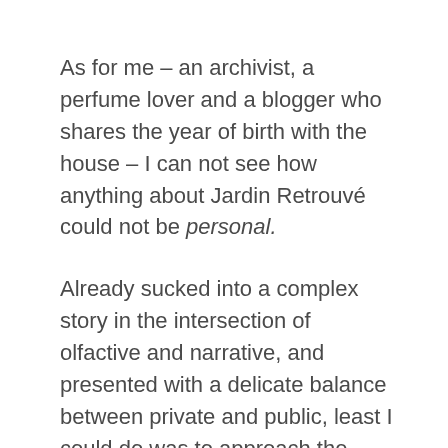As for me – an archivist, a perfume lover and a blogger who shares the year of birth with the house – I can not see how anything about Jardin Retrouvé could not be personal.
Already sucked into a complex story in the intersection of olfactive and narrative, and presented with a delicate balance between private and public, least I could do was to approach the perfumes with a delicate hand…
I just dived in the olfactive side of the story